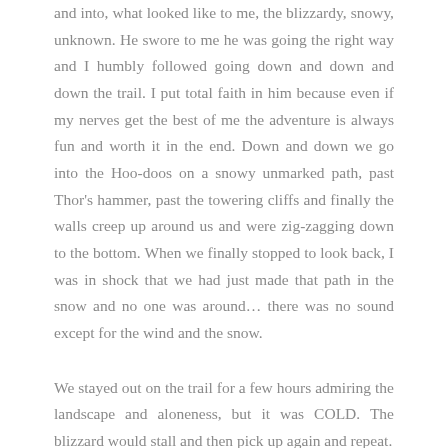and into, what looked like to me, the blizzardy, snowy, unknown. He swore to me he was going the right way and I humbly followed going down and down and down the trail. I put total faith in him because even if my nerves get the best of me the adventure is always fun and worth it in the end. Down and down we go into the Hoo-doos on a snowy unmarked path, past Thor's hammer, past the towering cliffs and finally the walls creep up around us and were zig-zagging down to the bottom. When we finally stopped to look back, I was in shock that we had just made that path in the snow and no one was around… there was no sound except for the wind and the snow.
We stayed out on the trail for a few hours admiring the landscape and aloneness, but it was COLD. The blizzard would stall and then pick up again and repeat.